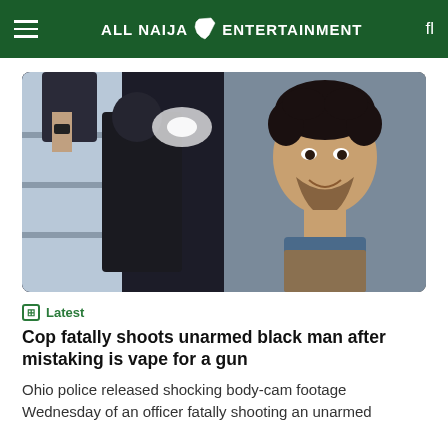ALL NAIJA ENTERTAINMENT
[Figure (photo): Two-panel image: left panel shows body-cam footage of police officers in dark tactical gear inside a room; right panel shows a young man smiling, with curly hair, in a vehicle.]
Latest
Cop fatally shoots unarmed black man after mistaking is vape for a gun
Ohio police released shocking body-cam footage Wednesday of an officer fatally shooting an unarmed